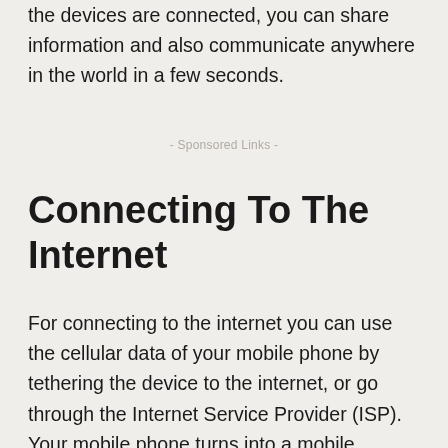the devices are connected, you can share information and also communicate anywhere in the world in a few seconds.
- Sponsored Links -
Connecting To The Internet
For connecting to the internet you can use the cellular data of your mobile phone by tethering the device to the internet, or go through the Internet Service Provider (ISP). Your mobile phone turns into a mobile hotspot when you